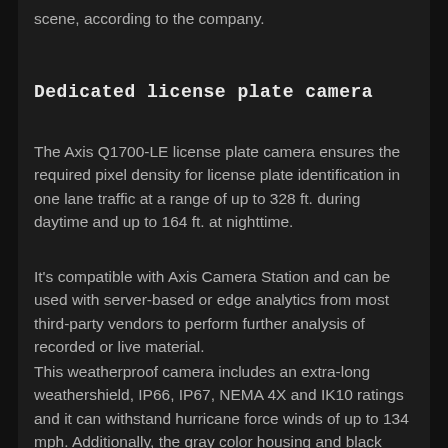scene, according to the company.
Dedicated license plate camera
The Axis Q1700-LE license plate camera ensures the required pixel density for license plate identification in one lane traffic at a range of up to 328 ft. during daytime and up to 164 ft. at nighttime.
It's compatible with Axis Camera Station and can be used with server-based or edge analytics from most third-party vendors to perform further analysis of recorded or live material.
This weatherproof camera includes an extra-long weathershield, IP66, IP67, NEMA 4X and IK10 ratings and it can withstand hurricane force winds of up to 134 mph. Additionally, the gray color housing and black weathershield blends right in to any traffic